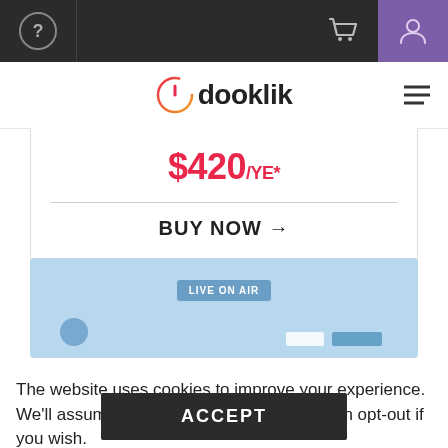[Figure (screenshot): Top navigation bar with question mark icon, shopping cart icon, and purple user icon on dark background]
[Figure (logo): Dooklik logo with power button icon and hamburger menu]
$420/YE*
BUY NOW →
[Figure (screenshot): Light blue preview area showing LIVE ON AIR badge and interface elements]
The website uses cookies to improve your experience. We'll assume you're ok with this, but you can opt-out if you wish.
ACCEPT